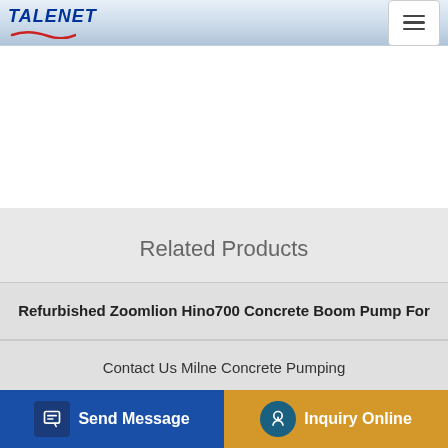TALENET
Related Products
Refurbished Zoomlion Hino700 Concrete Boom Pump For
Contact Us Milne Concrete Pumping
DAF CF85 430 Concrete Pump Sermac 41 Meter 5Z41 1503
Local Concrete Pumping in Hampton Park VIC
Send Message | Inquiry Online